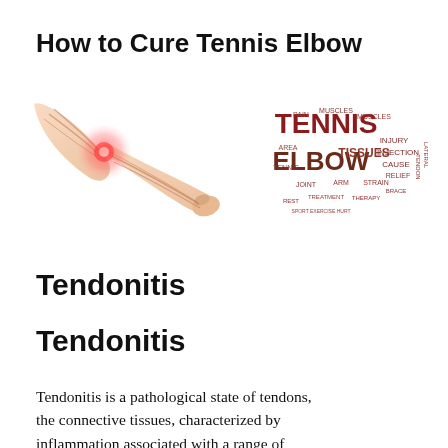How to Cure Tennis Elbow
[Figure (illustration): Illustration of a human arm/elbow with a red inflamed area at the elbow joint, showing muscle anatomy]
[Figure (infographic): Word cloud related to tennis elbow with words like TENNIS, ELBOW, MUSCLES, TISSUES, INJECTION prominently displayed in dark red and brown colors]
Tendonitis
Tendonitis
Tendonitis is a pathological state of tendons, the connective tissues, characterized by inflammation associated with a range of